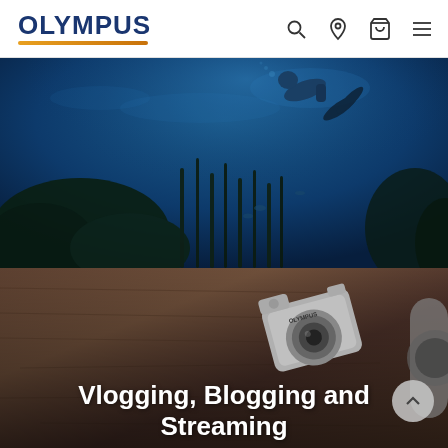OLYMPUS
[Figure (photo): Underwater scuba diving scene showing a diver in deep blue water above a dark coral reef with fish]
[Figure (photo): Olympus camera lying on a wooden table surface, with text overlay reading Vlogging, Blogging and Streaming]
Vlogging, Blogging and Streaming